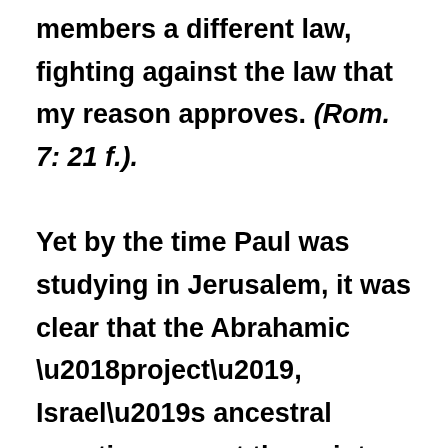members a different law, fighting against the law that my reason approves. (Rom. 7: 21 f.). Yet by the time Paul was studying in Jerusalem, it was clear that the Abrahamic 'project', Israel's ancestral vocation, was at the point where it needed rescuing. Some Jews had returned to Palestine from Babylon, while